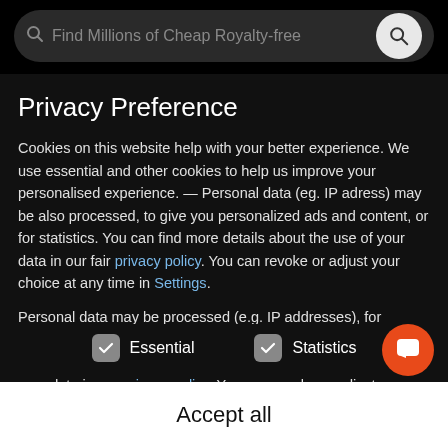[Figure (screenshot): Search bar with magnifying glass icon and placeholder text 'Find Millions of Cheap Royalty-free' and a circular search button on the right]
Privacy Preference
Cookies on this website help with your better experience. We use essential and other cookies to help us improve your personalised experience. — Personal data (eg. IP adress) may be also processed, to give you personalized ads and content, or for statistics. You can find more details about the use of your data in our fair privacy policy. You can revoke or adjust your choice at any time in Settings.
Personal data may be processed (e.g. IP addresses), for example for personalized ads and content or ad and content measurement. You can find more information about the use of your data in our privacy policy. You can revoke or adjust your
Essential
Statistics
Accept all